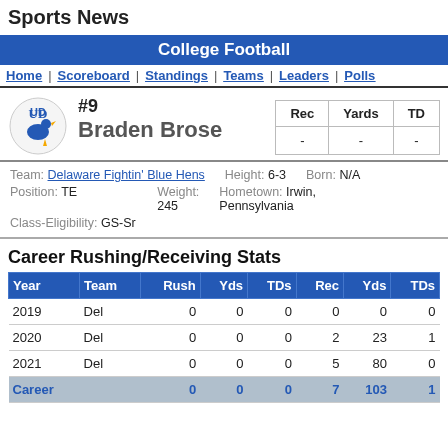Sports News
College Football
Home | Scoreboard | Standings | Teams | Leaders | Polls
#9 Braden Brose
| Rec | Yards | TD |
| --- | --- | --- |
| - | - | - |
Team: Delaware Fightin' Blue Hens  Height: 6-3  Born: N/A
Position: TE  Weight: 245  Hometown: Irwin, Pennsylvania
Class-Eligibility: GS-Sr
Career Rushing/Receiving Stats
| Year | Team | Rush | Yds | TDs | Rec | Yds | TDs |
| --- | --- | --- | --- | --- | --- | --- | --- |
| 2019 | Del | 0 | 0 | 0 | 0 | 0 | 0 |
| 2020 | Del | 0 | 0 | 0 | 2 | 23 | 1 |
| 2021 | Del | 0 | 0 | 0 | 5 | 80 | 0 |
| Career |  | 0 | 0 | 0 | 7 | 103 | 1 |